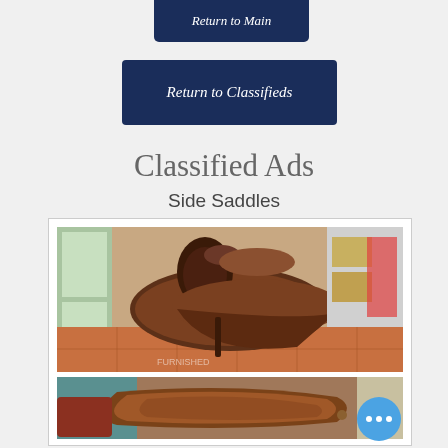[Figure (other): Button: Return to Main — dark navy blue button with italic white text]
[Figure (other): Button: Return to Classifieds — dark navy blue button with italic white text]
Classified Ads
Side Saddles
[Figure (photo): Photo of a brown leather side saddle with pommels, displayed indoors on a stand, with windows, boxes, and colorful bags visible in the background]
[Figure (photo): Photo of a brown leather side saddle displayed outdoors/indoors with teal fabric visible in the background]